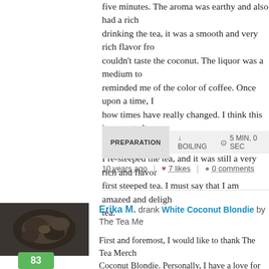five minutes. The aroma was earthy and also had a rich... drinking the tea, it was a smooth and very rich flavor fro... couldn't taste the coconut. The liquor was a medium to... reminded me of the color of coffee. Once upon a time, I... how times have really changed. I think this is a great alte... since I don't drink it anymore.
I re-steeped the tea, and it was still a very rich and flavo... first steeped tea. I must say that I am amazed and deligh... tea.
PREPARATION  ↓ BOILING  ⊙ 5 MIN, 0 SEC
10 years ago  |  ♥ 7 likes  |  ● 0 comments
Erika M. drank White Coconut Blondie by The Tea Me...
[Figure (photo): Avatar image showing tea leaves, with a green score badge showing 83]
First and foremost, I would like to thank The Tea Merch... Coconut Blondie. Personally, I have a love for coconut, s... trying a tea blend that includes coconut.